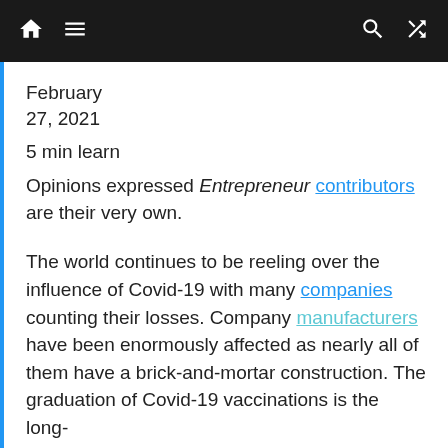Navigation bar with home, menu, search, and shuffle icons
February
27, 2021
5 min learn
Opinions expressed Entrepreneur contributors are their very own.
The world continues to be reeling over the influence of Covid-19 with many companies counting their losses. Company manufacturers have been enormously affected as nearly all of them have a brick-and-mortar construction. The graduation of Covid-19 vaccinations is the long-